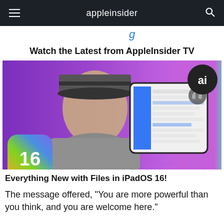appleinsider
Watch the Latest from AppleInsider TV
[Figure (photo): A man wearing a baseball cap holds up an iPad showing the Files app. An iOS 16 icon is visible in the lower left and an AppleInsider 'ai' logo badge is in the upper right. Background is purple/magenta gradient.]
Everything New with Files in iPadOS 16!
The message offered, "You are more powerful than you think, and you are welcome here."